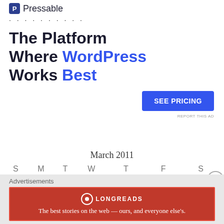[Figure (logo): Pressable logo with icon and name, followed by dotted separator line]
The Platform Where WordPress Works Best
[Figure (other): SEE PRICING button (blue CTA)]
REPORT THIS AD
| S | M | T | W | T | F | S |
| --- | --- | --- | --- | --- | --- | --- |
|  |  | 1 | 2 | 3 | 4 | 5 |
| 6 | 7 | 8 | 9 | 10 | 11 | 12 |
March 2011
Advertisements
[Figure (other): Longreads advertisement banner: red background, Longreads logo, tagline 'The best stories on the web — ours, and everyone else's.']